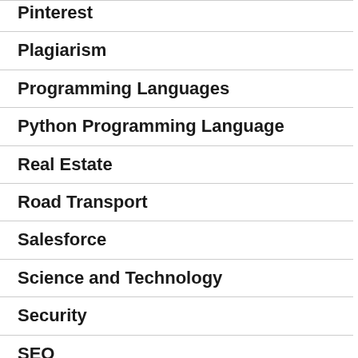Pinterest
Plagiarism
Programming Languages
Python Programming Language
Real Estate
Road Transport
Salesforce
Science and Technology
Security
SEO
Social Media
Social Networking
Software